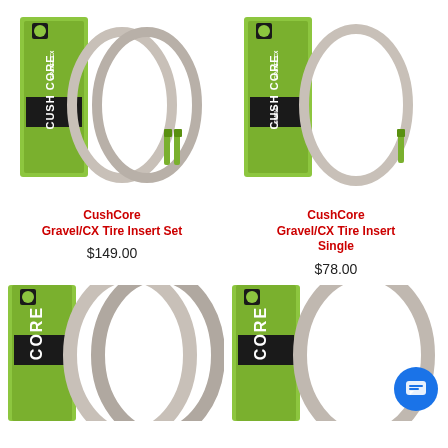[Figure (photo): CushCore Gravel/CX Tire Insert Set product photo showing green branded box with two foam tire inserts and two green valve stems]
CushCore
Gravel/CX Tire Insert Set
$149.00
[Figure (photo): CushCore Gravel/CX Tire Insert Single product photo showing green branded box with one foam tire insert and one green valve stem]
CushCore
Gravel/CX Tire Insert Single
$78.00
[Figure (photo): CushCore product photo bottom-left showing green branded box with two large foam tire inserts partially visible]
[Figure (photo): CushCore product photo bottom-right showing green branded box with one large foam tire insert partially visible, with blue chat button overlay]